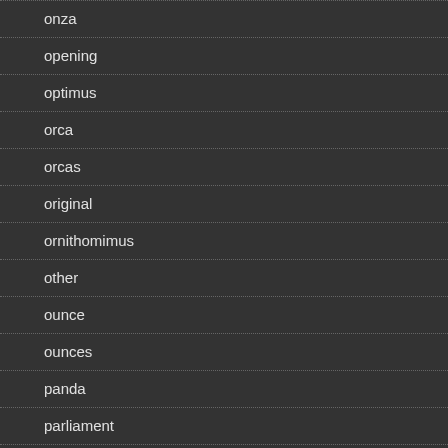onza
opening
optimus
orca
orcas
original
ornithomimus
other
ounce
ounces
panda
parliament
pcgs